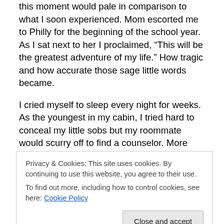this moment would pale in comparison to what I soon experienced. Mom escorted me to Philly for the beginning of the school year. As I sat next to her I proclaimed, “This will be the greatest adventure of my life.” How tragic and how accurate those sage little words became.
I cried myself to sleep every night for weeks. As the youngest in my cabin, I tried hard to conceal my little sobs but my roommate would scurry off to find a counselor. More often than not, it was Fred Van Sant. He became my protector, my confidant, my hero and my surrogate parent for the next two years. Like my biological father and
Privacy & Cookies: This site uses cookies. By continuing to use this website, you agree to their use.
To find out more, including how to control cookies, see here: Cookie Policy
The Doctor and Moses Malone. We went to ship yards to